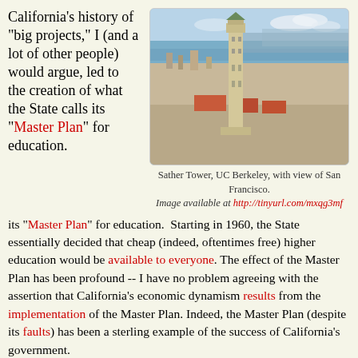California's history of "big projects," I (and a lot of other people) would argue, led to the creation of what the State calls its "Master Plan" for education.
[Figure (photo): Aerial photograph of Sather Tower (Campanile) at UC Berkeley with a view of San Francisco Bay and the city in the background]
Sather Tower, UC Berkeley, with view of San Francisco. Image available at http://tinyurl.com/mxqg3mf
its "Master Plan" for education. Starting in 1960, the State essentially decided that cheap (indeed, oftentimes free) higher education would be available to everyone. The effect of the Master Plan has been profound -- I have no problem agreeing with the assertion that California's economic dynamism results from the implementation of the Master Plan. Indeed, the Master Plan (despite its faults) has been a sterling example of the success of California's government.